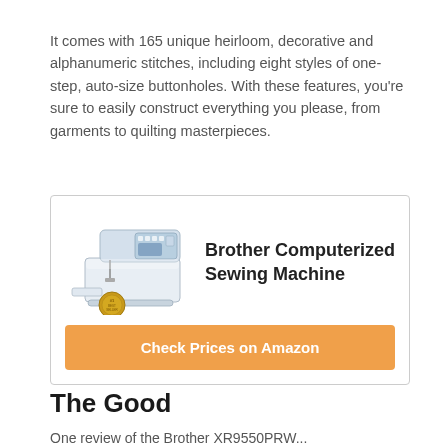It comes with 165 unique heirloom, decorative and alphanumeric stitches, including eight styles of one-step, auto-size buttonholes. With these features, you're sure to easily construct everything you please, from garments to quilting masterpieces.
[Figure (other): Product box showing a Brother Computerized Sewing Machine image on the left with a gold badge, product title on the right, and an orange 'Check Prices on Amazon' button below.]
The Good
One review of the Brother XR9550PRW...